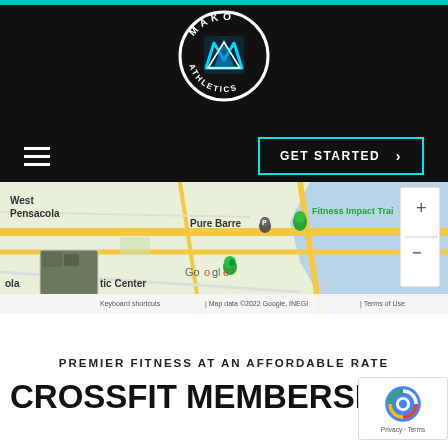[Figure (logo): Mako Athletics circular logo with white border, black background, and stylized M with shark fin in cyan/blue on black header]
[Figure (screenshot): Google Maps screenshot showing West Pensacola area with map pins for Pure Barre and Fitness Impact Training, map controls (+/-), satellite thumbnail, and footer text: Keyboard shortcuts | Map data ©2022 Google, INEGI | Terms of Use]
PREMIER FITNESS AT AN AFFORDABLE RATE
CROSSFIT MEMBERSHIP PRICING